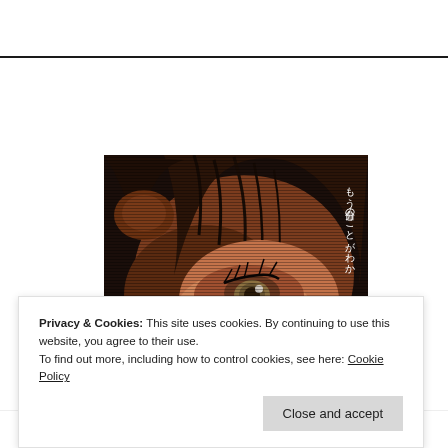[Figure (illustration): Anime manga-style illustration showing a character's face from a low angle with dark hair falling over their face; large expressive eyes are visible with dramatic shading. Japanese vertical text on the right side reads: もう自分のことがわか (I no longer understand myself). Dark atmospheric coloring with browns and blacks.]
Privacy & Cookies: This site uses cookies. By continuing to use this website, you agree to their use.
To find out more, including how to control cookies, see here: Cookie Policy
Close and accept
Dark Mode: Off